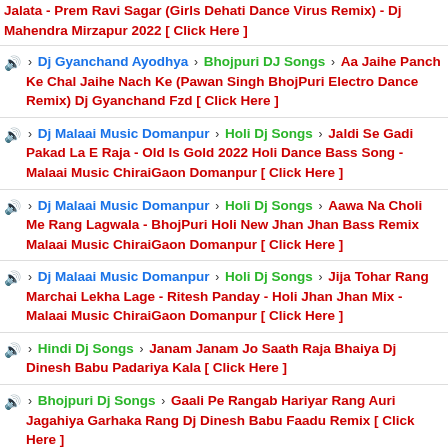Jalata - Prem Ravi Sagar (Girls Dehati Dance Virus Remix) - Dj Mahendra Mirzapur 2022 [ Click Here ]
Dj Gyanchand Ayodhya > Bhojpuri DJ Songs > Aa Jaihe Panch Ke Chal Jaihe Nach Ke (Pawan Singh BhojPuri Electro Dance Remix) Dj Gyanchand Fzd [ Click Here ]
Dj Malaai Music Domanpur > Holi Dj Songs > Jaldi Se Gadi Pakad La E Raja - Old Is Gold 2022 Holi Dance Bass Song - Malaai Music ChiraiGaon Domanpur [ Click Here ]
Dj Malaai Music Domanpur > Holi Dj Songs > Aawa Na Choli Me Rang Lagwala - BhojPuri Holi New Jhan Jhan Bass Remix Malaai Music ChiraiGaon Domanpur [ Click Here ]
Dj Malaai Music Domanpur > Holi Dj Songs > Jija Tohar Rang Marchai Lekha Lage - Ritesh Panday - Holi Jhan Jhan Mix - Malaai Music ChiraiGaon Domanpur [ Click Here ]
Hindi Dj Songs > Janam Janam Jo Saath Raja Bhaiya Dj Dinesh Babu Padariya Kala [ Click Here ]
Bhojpuri Dj Songs > Gaali Pe Rangab Hariyar Rang Auri Jagahiya Garhaka Rang Dj Dinesh Babu Faadu Remix [ Click Here ]
Bhojpuri Dj Songs > Baigan Ke Daam Khesari Lal Yadav Shilpi Raj Dj Dinesh Babu Padariya Kala [ Click Here ]